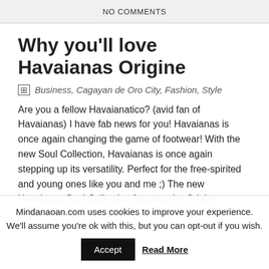NO COMMENTS
Why you'll love Havaianas Origine
Business, Cagayan de Oro City, Fashion, Style
Are you a fellow Havaianatico? (avid fan of Havaianas) I have fab news for you! Havaianas is once again changing the game of footwear! With the new Soul Collection, Havaianas is once again stepping up its versatility. Perfect for the free-spirited and young ones like you and me ;) The new Havaianas Soul Collection features the Origine Espadrilles, Sneakers and Ballerina. The collection
Mindanaoan.com uses cookies to improve your experience. We'll assume you're ok with this, but you can opt-out if you wish. Accept Read More